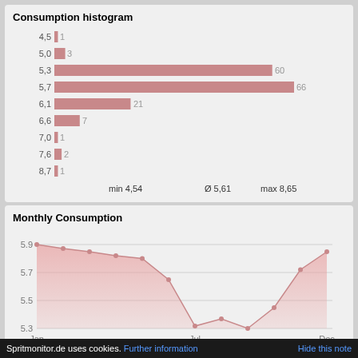Consumption histogram
[Figure (bar-chart): Consumption histogram]
min 4,54    Ø 5,61 max 8,65
Monthly Consumption
[Figure (area-chart): Monthly Consumption]
Comparison
Do you want to know about the consumptions of others with
Spritmonitor.de uses cookies. Further information  Hide this note